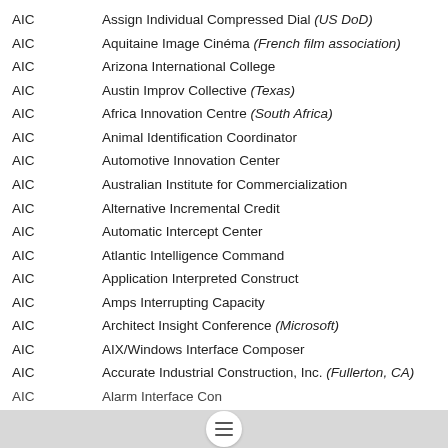AIC — Assign Individual Compressed Dial (US DoD)
AIC — Aquitaine Image Cinéma (French film association)
AIC — Arizona International College
AIC — Austin Improv Collective (Texas)
AIC — Africa Innovation Centre (South Africa)
AIC — Animal Identification Coordinator
AIC — Automotive Innovation Center
AIC — Australian Institute for Commercialization
AIC — Alternative Incremental Credit
AIC — Automatic Intercept Center
AIC — Atlantic Intelligence Command
AIC — Application Interpreted Construct
AIC — Amps Interrupting Capacity
AIC — Architect Insight Conference (Microsoft)
AIC — AIX/Windows Interface Composer
AIC — Accurate Industrial Construction, Inc. (Fullerton, CA)
AIC — Alarm Interface Con...